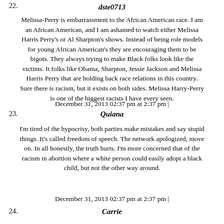22.
dste0713
Melissa-Perry is embarrassment to the African American race. I am an African American, and I am ashamed to watch either Melissa Harris Perry's or Al Sharpton's shows. Instead of being role models for young African American's they are encouraging them to be bigots. They always trying to make Black folks look like the victims. It folks like Obama, Sharpton, Jessie Jackson and Melissa Harris Perry that are holding back race relations in this country. Sure there is racism, but it exists on both sides. Melissa Harry-Perry is one of the biggest racists I have every seen.
December 31, 2013 02:37 pm at 2:37 pm |
23.
Quiana
I'm tired of the hypocrisy, both parties make mistakes and say stupid things. It's called freedom of speech. The network apologized, move on. In all honestly, the truth hurts. I'm more concerned that of the racism in abortion where a white person could easily adopt a black child, but not the other way around.
December 31, 2013 02:37 pm at 2:37 pm |
24.
Carrie